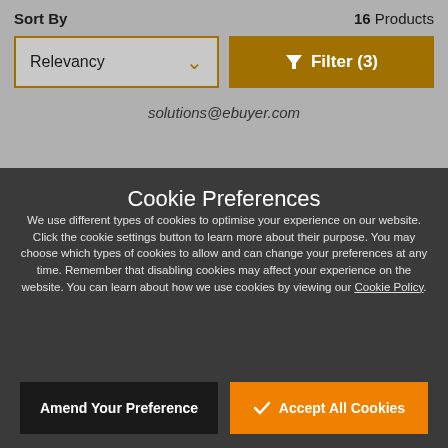Sort By
16 Products
Relevancy
Filter (3)
solutions@ebuyer.com
Cookie Preferences
We use different types of cookies to optimise your experience on our website. Click the cookie settings button to learn more about their purpose. You may choose which types of cookies to allow and can change your preferences at any time. Remember that disabling cookies may affect your experience on the website. You can learn about how we use cookies by viewing our Cookie Policy.
Amend Your Preference
Accept All Cookies